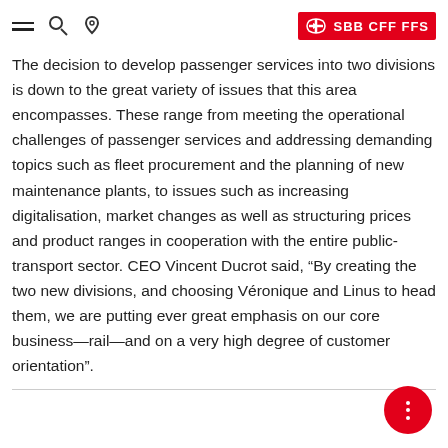SBB CFF FFS
The decision to develop passenger services into two divisions is down to the great variety of issues that this area encompasses. These range from meeting the operational challenges of passenger services and addressing demanding topics such as fleet procurement and the planning of new maintenance plants, to issues such as increasing digitalisation, market changes as well as structuring prices and product ranges in cooperation with the entire public-transport sector. CEO Vincent Ducrot said, “By creating the two new divisions, and choosing Véronique and Linus to head them, we are putting ever great emphasis on our core business—rail—and on a very high degree of customer orientation”.